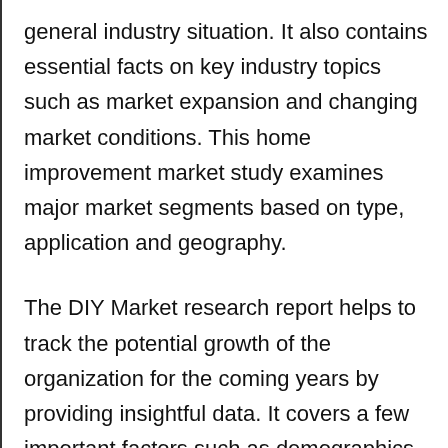general industry situation. It also contains essential facts on key industry topics such as market expansion and changing market conditions. This home improvement market study examines major market segments based on type, application and geography.
The DIY Market research report helps to track the potential growth of the organization for the coming years by providing insightful data. It covers a few important factors such as demographics, promotional activities, and business metrics. It further sheds light on the economic disasters caused by COVID-19 and the huge losses suffered